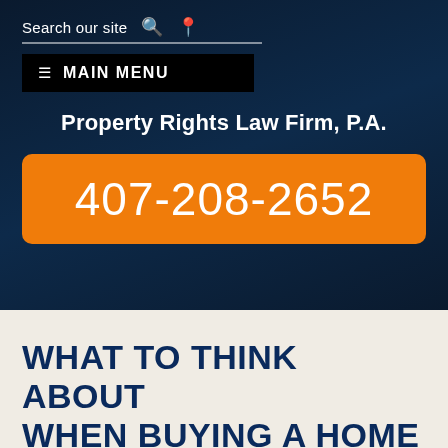Search our site
☰ MAIN MENU
Property Rights Law Firm, P.A.
407-208-2652
WHAT TO THINK ABOUT WHEN BUYING A HOME